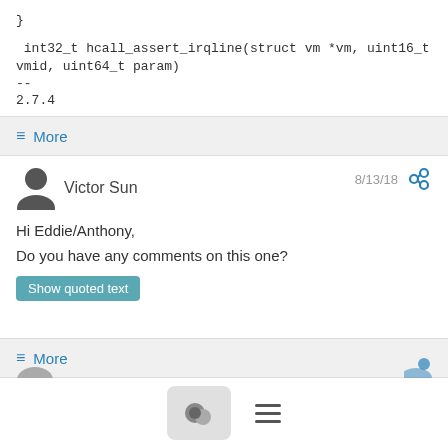}
int32_t hcall_assert_irqline(struct vm *vm, uint16_t vmid, uint64_t param)
--
2.7.4
≡ More
Victor Sun  8/13/18
Hi Eddie/Anthony,

Do you have any comments on this one?
≡ More